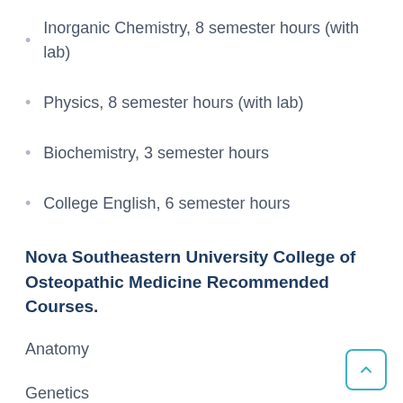Inorganic Chemistry, 8 semester hours (with lab)
Physics, 8 semester hours (with lab)
Biochemistry, 3 semester hours
College English, 6 semester hours
Nova Southeastern University College of Osteopathic Medicine Recommended Courses.
Anatomy
Genetics
Physiology, 3 semester hours